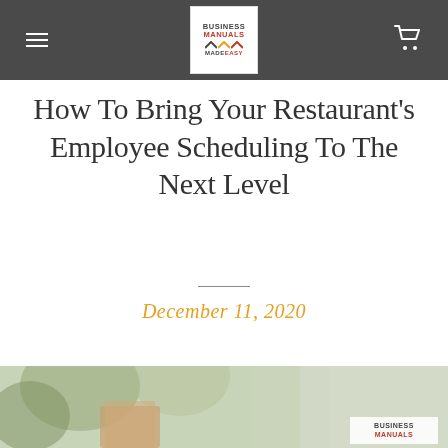Business Manuals Made Easy — navigation header with logo and cart
How To Bring Your Restaurant's Employee Scheduling To The Next Level
December 11, 2020
[Figure (photo): Bottom portion of a photo showing a restaurant interior with plants and a Business Manuals Made Easy watermark logo]